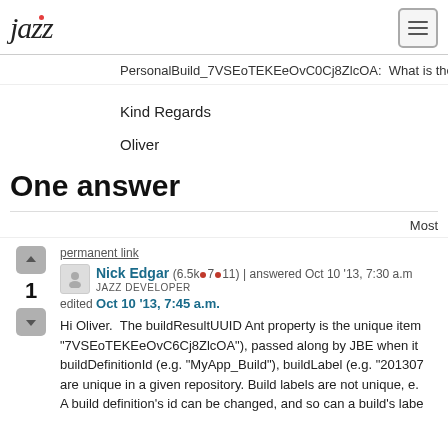jazz [logo] | [menu button]
PersonalBuild_7VSEoTEKEeOvC0Cj8ZlcOA:  What is the exp
Kind Regards
Oliver
One answer
Most
permanent link
Nick Edgar (6.5k●7●11) | answered Oct 10 '13, 7:30 a.m.
JAZZ DEVELOPER
edited Oct 10 '13, 7:45 a.m.
Hi Oliver.  The buildResultUUID Ant property is the unique item "7VSEoTEKEeOvC6Cj8ZlcOA"), passed along by JBE when it buildDefinitionId (e.g. "MyApp_Build"), buildLabel (e.g. "201307 are unique in a given repository. Build labels are not unique, e. A build definition's id can be changed, and so can a build's labe their...